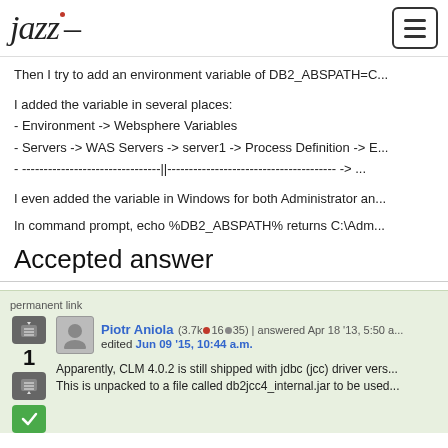jazz [logo] | menu button
Then I try to add an environment variable of DB2_ABSPATH=C...
I added the variable in several places:
- Environment -> Websphere Variables
- Servers -> WAS Servers -> server1 -> Process Definition -> E...
- --------------------------------||--------------------------------------- -> ...
I even added the variable in Windows for both Administrator an...
In command prompt, echo %DB2_ABSPATH% returns C:\Adm...
Accepted answer
permanent link
Piotr Aniola (3.7k●16●35) | answered Apr 18 '13, 5:50 a... edited Jun 09 '15, 10:44 a.m.
Apparently, CLM 4.0.2 is still shipped with jdbc (jcc) driver vers... This is unpacked to a file called db2jcc4_internal.jar to be used...